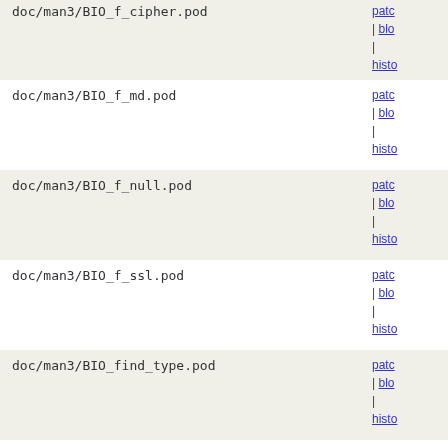| File | Links |
| --- | --- |
| doc/man3/BIO_f_cipher.pod | patch | blob | history |
| doc/man3/BIO_f_md.pod | patch | blob | history |
| doc/man3/BIO_f_null.pod | patch | blob | history |
| doc/man3/BIO_f_ssl.pod | patch | blob | history |
| doc/man3/BIO_find_type.pod | patch | blob | history |
| doc/man3/BIO_get_data.pod | patch | blob | history |
| doc/man3/BIO_get_ex_new_index.pod | patch | blob | history |
| doc/man3/BIO_meth_new.pod | patch | blob | history |
| doc/man3/BIO_new.pod | patch | blob | history |
| doc/man3/BIO_new_CMS.pod | patch | blob |